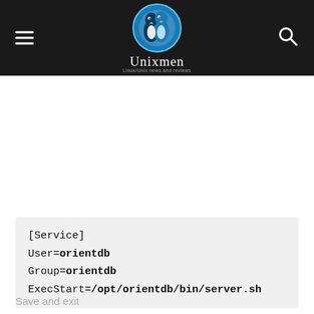Unixmen — Linux/Unix news and reviews
[Service]
User=orientdb
Group=orientdb
ExecStart=/opt/orientdb/bin/server.sh
Save and exit